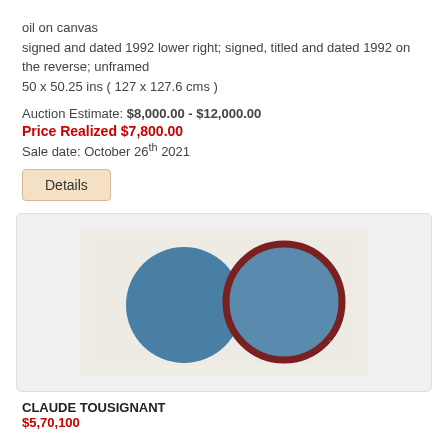oil on canvas
signed and dated 1992 lower right; signed, titled and dated 1992 on the reverse; unframed
50 x 50.25 ins ( 127 x 127.6 cms )
Auction Estimate: $8,000.00 - $12,000.00
Price Realized $7,800.00
Sale date: October 26th 2021
Details
[Figure (photo): Painting showing two large circular forms side by side on a light/cream background. Left circle is solid blue, right circle is blue with a dark red/maroon border outline.]
CLAUDE TOUSIGNANT